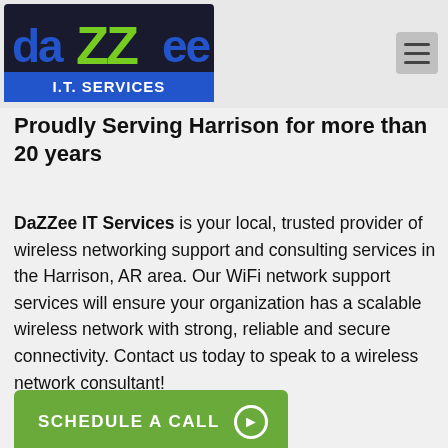[Figure (logo): DaZZee I.T. Services logo — colorful text logo with blue and green letters on dark background]
Proudly Serving Harrison for more than 20 years
DaZZee IT Services is your local, trusted provider of wireless networking support and consulting services in the Harrison, AR area. Our WiFi network support services will ensure your organization has a scalable wireless network with strong, reliable and secure connectivity. Contact us today to speak to a wireless network consultant!
SCHEDULE A CALL